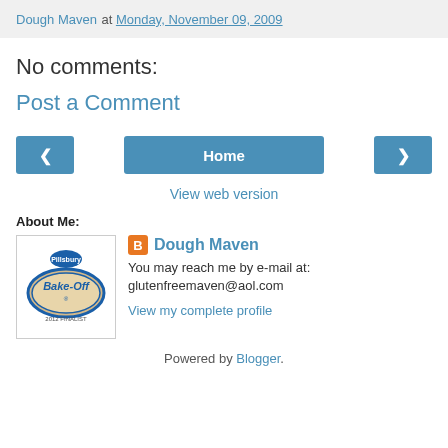Dough Maven at Monday, November 09, 2009
No comments:
Post a Comment
< Home >
View web version
About Me:
[Figure (logo): Pillsbury Bake-Off 2012 Finalist badge logo]
Dough Maven
You may reach me by e-mail at: glutenfreemaven@aol.com
View my complete profile
Powered by Blogger.